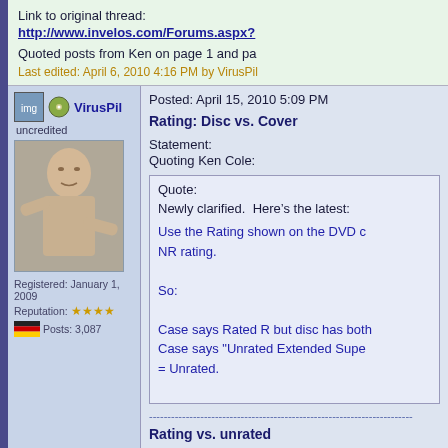Link to original thread:
http://www.invelos.com/Forums.aspx?
Quoted posts from Ken on page 1 and pa
Last edited: April 6, 2010 4:16 PM by VirusPil
VirusPil uncredited
[Figure (photo): Avatar photo of bald person in suit pointing finger]
Registered: January 1, 2009
Reputation: stars
Posts: 3,087
Posted: April 15, 2010 5:09 PM
Rating: Disc vs. Cover
Statement:
Quoting Ken Cole:
Quote:
Newly clarified.  Here’s the latest:

Use the Rating shown on the DVD c… NR rating.

So:

Case says Rated R but disc has both… Case says "Unrated Extended Supe… = Unrated.
--------------------------------------------------------------------------------
Rating vs. unrated